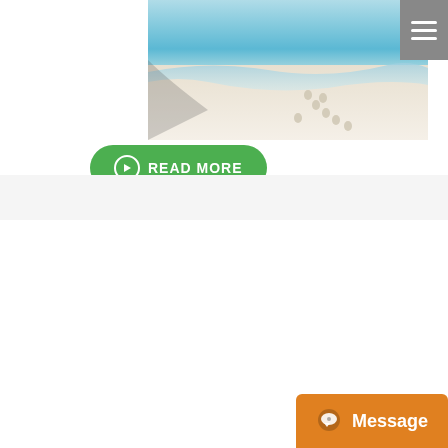[Figure (photo): Beach photo with white sand, footprints, and turquoise water]
[Figure (illustration): Green Read More button with arrow circle icon]
CHOOSE YOUR BEST ROUTE
[Figure (map): Route map of Kilimanjaro climbing routes showing Shira Route, Northern Circuit, Rongai Route, Lemosho Route and trails in red on a topographic map]
MARANGU ROUTE
MACHAME ROUTE
LEMOSHO ROUTE